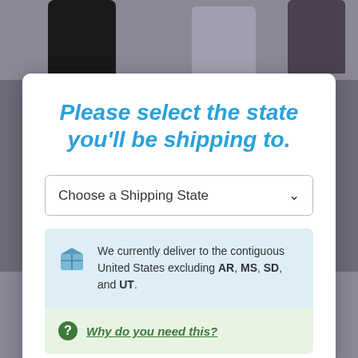[Figure (screenshot): Background showing wine bottles in a web store]
Please select the state you'll be shipping to.
Choose a Shipping State
We currently deliver to the contiguous United States excluding AR, MS, SD, and UT.
Why do you need this?